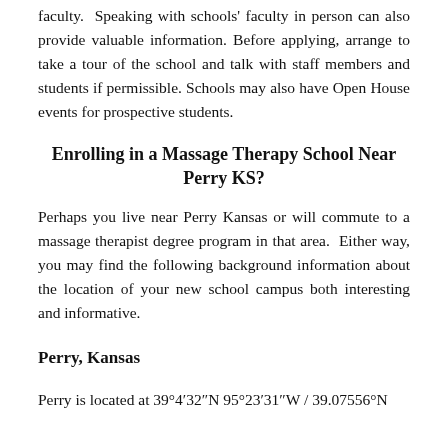faculty.  Speaking with schools' faculty in person can also provide valuable information. Before applying, arrange to take a tour of the school and talk with staff members and students if permissible. Schools may also have Open House events for prospective students.
Enrolling in a Massage Therapy School Near Perry KS?
Perhaps you live near Perry Kansas or will commute to a massage therapist degree program in that area.  Either way, you may find the following background information about the location of your new school campus both interesting and informative.
Perry, Kansas
Perry is located at 39°4′32″N 95°23′31″W / 39.07556°N